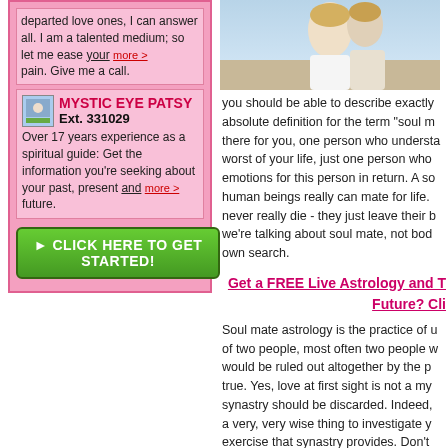departed love ones, I can answer all. I am a talented medium; so let me ease your pain. Give me a call.
MYSTIC EYE PATSY
Ext. 331029
Over 17 years experience as a spiritual guide: Get the information you're seeking about your past, present and future.
[Figure (other): Green button: CLICK HERE TO GET STARTED!]
[Figure (photo): Photo of couple embracing on a beach]
you should be able to describe exactly what absolute definition for the term "soul m... there for you, one person who understa... worst of your life, just one person who... emotions for this person in return. A so... human beings really can mate for life. ... never really die - they just leave their b... we're talking about soul mate, not bod... own search.
Get a FREE Live Astrology and ... Future? Cli...
Soul mate astrology is the practice of u... of two people, most often two people w... would be ruled out altogether by the p... true. Yes, love at first sight is not a my... synastry should be discarded. Indeed, ... a very, very wise thing to investigate y... exercise that synastry provides. Don't ... impressions may deceive - it's been kn... first and just put together that chart!